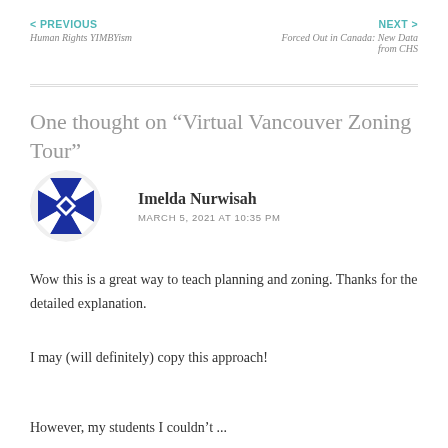< PREVIOUS
Human Rights YIMBYism
NEXT >
Forced Out in Canada: New Data from CHS
One thought on “Virtual Vancouver Zoning Tour”
[Figure (illustration): Circular avatar with a geometric blue and white pinwheel/quilt pattern]
Imelda Nurwisah
MARCH 5, 2021 AT 10:35 PM
Wow this is a great way to teach planning and zoning. Thanks for the detailed explanation.
I may (will definitely) copy this approach!
However, my students I couldn't ...